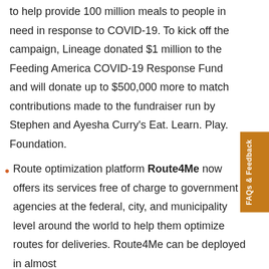to help provide 100 million meals to people in need in response to COVID-19. To kick off the campaign, Lineage donated $1 million to the Feeding America COVID-19 Response Fund and will donate up to $500,000 more to match contributions made to the fundraiser run by Stephen and Ayesha Curry's Eat. Learn. Play. Foundation.
Route optimization platform Route4Me now offers its services free of charge to government agencies at the federal, city, and municipality level around the world to help them optimize routes for deliveries. Route4Me can be deployed in almost